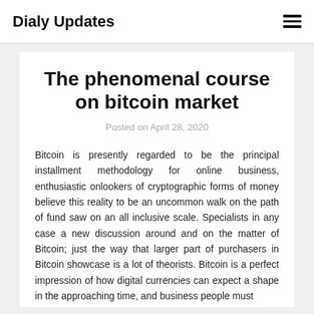Dialy Updates
The phenomenal course on bitcoin market
Posted on April 28, 2020
Bitcoin is presently regarded to be the principal installment methodology for online business, enthusiastic onlookers of cryptographic forms of money believe this reality to be an uncommon walk on the path of fund saw on an all inclusive scale. Specialists in any case a new discussion around and on the matter of Bitcoin; just the way that larger part of purchasers in Bitcoin showcase is a lot of theorists. Bitcoin is a perfect impression of how digital currencies can expect a shape in the approaching time, and business people must